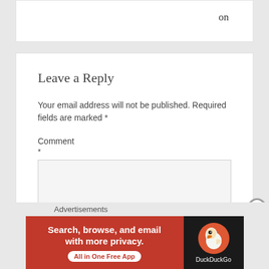on
Leave a Reply
Your email address will not be published. Required fields are marked *
Comment *
Advertisements
[Figure (other): DuckDuckGo advertisement banner: 'Search, browse, and email with more privacy. All in One Free App' with DuckDuckGo logo on dark right panel.]